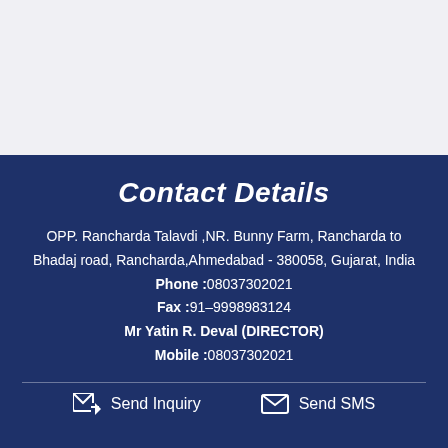Contact Details
OPP. Rancharda Talavdi ,NR. Bunny Farm, Rancharda to Bhadaj road, Rancharda,Ahmedabad - 380058, Gujarat, India
Phone :08037302021
Fax :91–9998983124
Mr Yatin R. Deval (DIRECTOR)
Mobile :08037302021
Send Inquiry   Send SMS